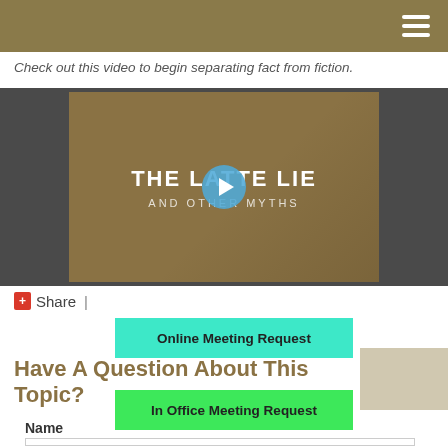Check out this video to begin separating fact from fiction.
[Figure (screenshot): Video thumbnail with tan/brown background showing title 'THE LATTE LIE AND OTHER MYTHS' with a play button overlay]
Share |
Online Meeting Request
Have A Question About This Topic?
In Office Meeting Request
Name